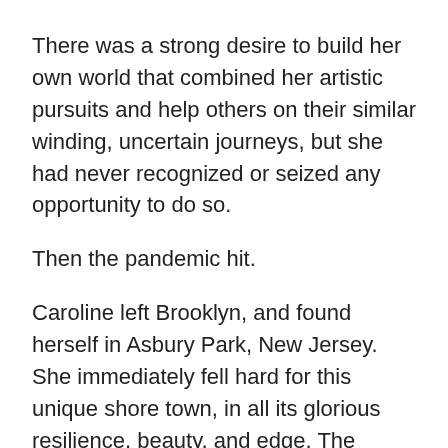There was a strong desire to build her own world that combined her artistic pursuits and help others on their similar winding, uncertain journeys, but she had never recognized or seized any opportunity to do so.
Then the pandemic hit.
Caroline left Brooklyn, and found herself in Asbury Park, New Jersey. She immediately fell hard for this unique shore town, in all its glorious resilience, beauty, and edge. The energy of the local creative community was palpable and warm. A perfect combination!
And shit. Finally. Clicked.
She quit her corporate job, took what little savings she had, and put all of her energy into Ghost Harbor Creative.